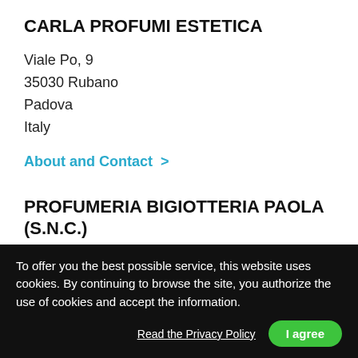CARLA PROFUMI ESTETICA
Viale Po, 9
35030 Rubano
Padova
Italy
About and Contact  >
PROFUMERIA BIGIOTTERIA PAOLA (S.N.C.)
Piazza Trento, 13
35042 Este
To offer you the best possible service, this website uses cookies. By continuing to browse the site, you authorize the use of cookies and accept the information.
Read the Privacy Policy
I agree